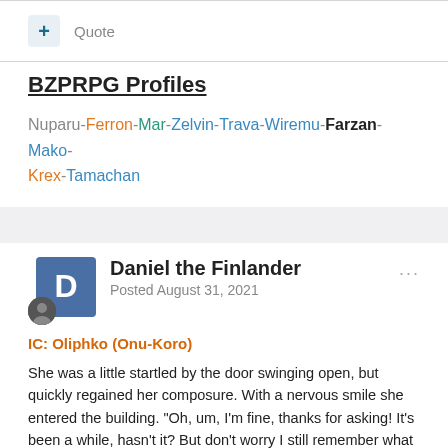+ Quote
BZPRPG Profiles
Nuparu-Ferron-Mar-Zelvin-Trava-Wiremu-Farzan-Mako-Krex-Tamachan
Daniel the Finlander
Posted August 31, 2021
IC: Oliphko (Onu-Koro)
She was a little startled by the door swinging open, but quickly regained her composure. With a nervous smile she entered the building. "Oh, um, I'm fine, thanks for asking! It's been a while, hasn't it? But don't worry I still remember what you've taught me